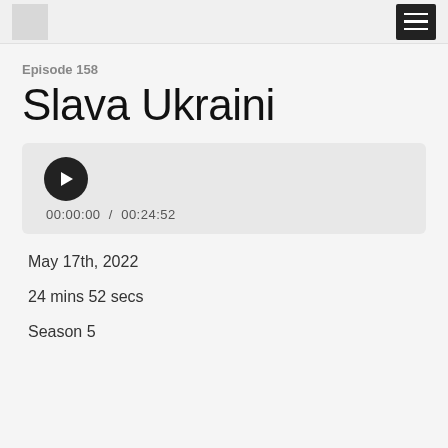[logo] [hamburger menu]
Episode 158
Slava Ukraini
[Figure (other): Audio player widget showing play button and time 00:00:00 / 00:24:52]
May 17th, 2022
24 mins 52 secs
Season 5